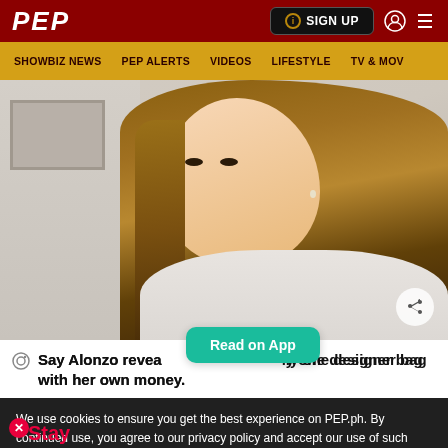PEP | SIGN UP | SHOWBIZ NEWS | PEP ALERTS | VIDEOS | LIFESTYLE | TV & MOV
[Figure (photo): Portrait photo of Say Alonzo, a young woman with long brown hair, wearing a white outfit, looking at the camera with a slight smile. A share/reply icon appears at the bottom right of the image.]
Say Alonzo reveals she only bought one designer bag with her own money.
Read on App
We use cookies to ensure you get the best experience on PEP.ph. By continued use, you agree to our privacy policy and accept our use of such cookies. Find out more here.
I AGREE
I DISAGREE
Stay